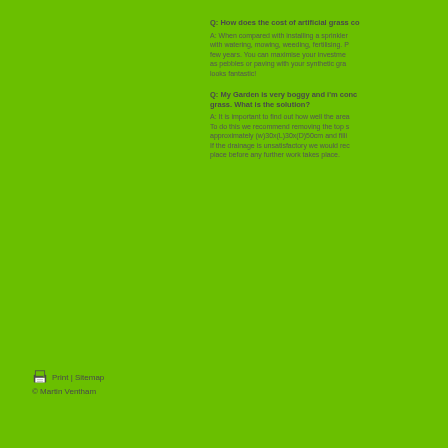Q: How does the cost of artificial grass co...
A: When compared with installing a sprinkler... with watering, mowing, weeding, fertilising. P... few years. You can maximise your investme... as pebbles or paving with your synthetic gra... looks fantastic!
Q: My Garden is very boggy and i'm conc... grass. What is the solution?
A: It is important to find out how well the are... To do this we recommend removing the top s... approximately (w)30x(L)30x(D)50cm and filli... If the drainage is unsatisfactory we would re... place before any further work takes place.
Print | Sitemap © Martin Ventham